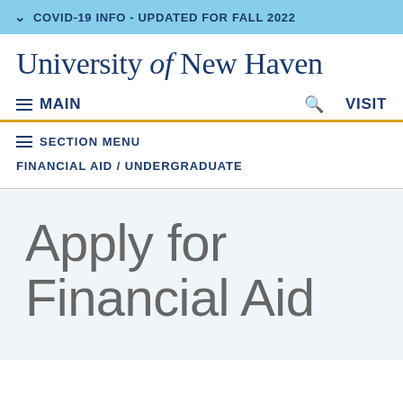COVID-19 INFO - UPDATED FOR FALL 2022
University of New Haven
MAIN
VISIT
SECTION MENU
FINANCIAL AID / UNDERGRADUATE
Apply for Financial Aid